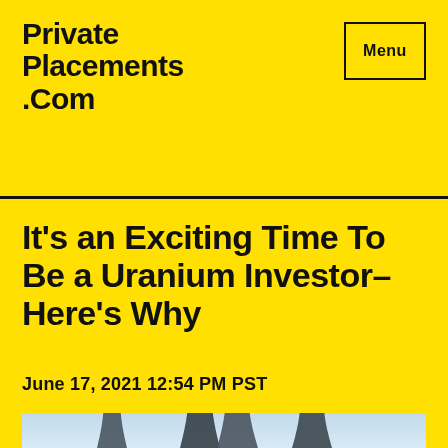Private Placements .Com
Menu
It's an Exciting Time To Be a Uranium Investor–Here's Why
June 17, 2021 12:54 PM PST
[Figure (photo): Nuclear power plant cooling towers with steam rising against a blue sky, partially visible at the bottom of the page.]